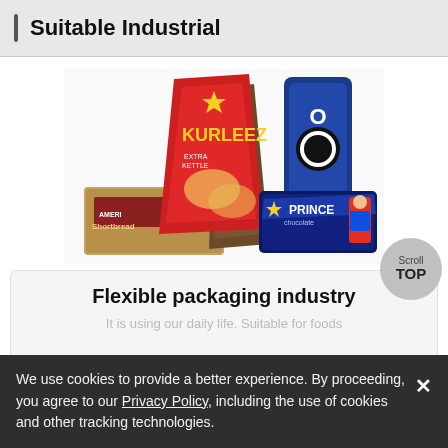Suitable Industrial
[Figure (photo): Photo of various snack food packages including Kurleez chips bag, Oreo cookies, Prince chocolate biscuits, Fits snacks, and Ameri shortbread-style biscuits arranged together]
Flexible packaging industry
It is using our daily life. Suitable for foods
We use cookies to provide a better experience. By proceeding, you agree to our Privacy Policy, including the use of cookies and other tracking technologies.